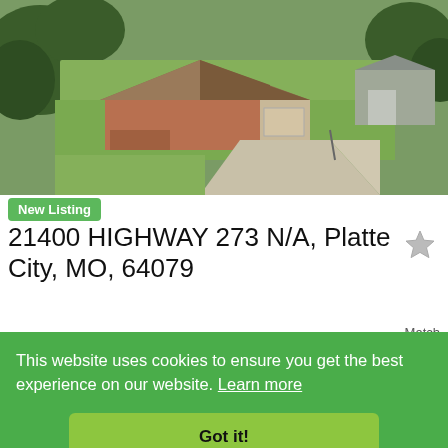[Figure (photo): Aerial view of a brick ranch-style home with attached garage, large concrete driveway, green lawn and a metal outbuilding to the right.]
New Listing
21400 HIGHWAY 273 N/A, Platte City, MO, 64079
$590,000 – 4 Beds, 3 Full / That Some
Match
This website uses cookies to ensure you get the best experience on our website. Learn more
Got it!